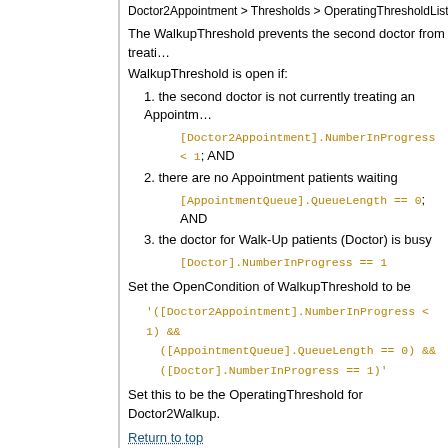Doctor2Appointment > Thresholds > OperatingThresholdList
The WalkupThreshold prevents the second doctor from treating...
WalkupThreshold is open if:
1. the second doctor is not currently treating an Appointment
[Doctor2Appointment].NumberInProgress < 1; AND
2. there are no Appointment patients waiting
[AppointmentQueue].QueueLength == 0; AND
3. the doctor for Walk-Up patients (Doctor) is busy
[Doctor].NumberInProgress == 1
Set the OpenCondition of WalkupThreshold to be
Set this to be the OperatingThreshold for Doctor2Walkup.
Return to top
Results